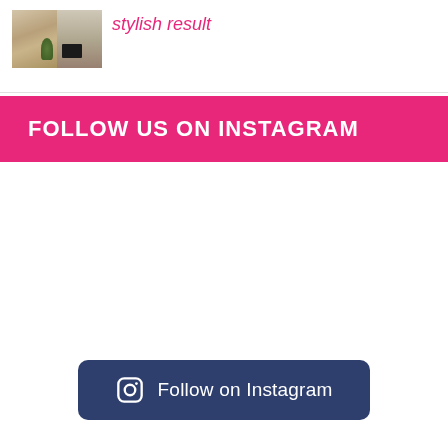[Figure (photo): Two side-by-side interior room photos showing a hallway/room with wooden floors and plant, and a room with a TV]
stylish result
FOLLOW US ON INSTAGRAM
Follow on Instagram